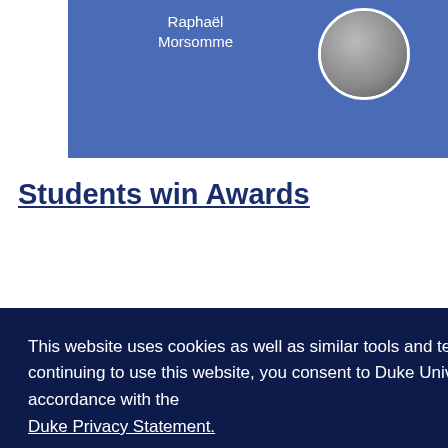[Figure (photo): Blue banner with person name 'Raphaël Morsomme' and a circular profile photo of a woman in dark clothing]
Students win Awards
This website uses cookies as well as similar tools and technologies to understand visitors' experiences. By continuing to use this website, you consent to Duke University's usage of cookies and similar technologies, in accordance with the Duke Privacy Statement.
I ACCEPT
Statistics in Epidemiology for his work on data